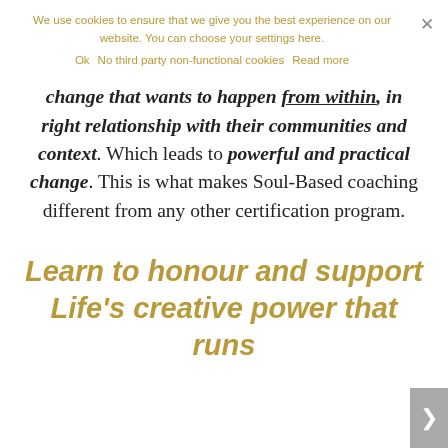We use cookies to ensure that we give you the best experience on our website. You can choose your settings here.
Ok  No third party non-functional cookies  Read more
change that wants to happen from within, in right relationship with their communities and context. Which leads to powerful and practical change. This is what makes Soul-Based coaching different from any other certification program.
Learn to honour and support Life's creative power that runs